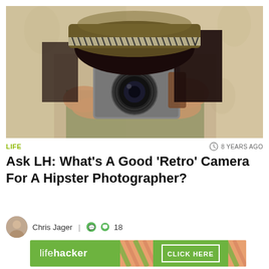[Figure (photo): Person holding a retro/vintage film camera up to their face, wearing a knit hat with a patterned band. Dark hair visible, warm background.]
LIFE
8 YEARS AGO
Ask LH: What’s A Good ‘Retro’ Camera For A Hipster Photographer?
Chris Jager | 18
[Figure (logo): Lifehacker advertisement banner with green background, lifehacker logo on left, diagonal stripe pattern in middle, and CLICK HERE button on right]